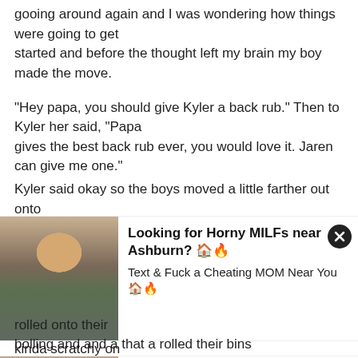gooing around again and I was wondering how things were going to get started and before the thought left my brain my boy made the move.
"Hey papa, you should give Kyler a back rub." Then to Kyler her said, "Papa gives the best back rub ever, you would love it. Jaren can give me one."
Kyler said okay so the boys moved a little farther out onto t
[Figure (photo): Advertisement with photo of woman - Looking for Horny MILFs near Ashburn? Text & Fuck a Cheating MOM Near You]
kinda scratchy on
[Figure (photo): Advertisement with photo of woman - Erasmus Girls Want to Fuck! Send a Message and Fuck for FREE]
rolled onto their
bolling and and a that a rolled their bins